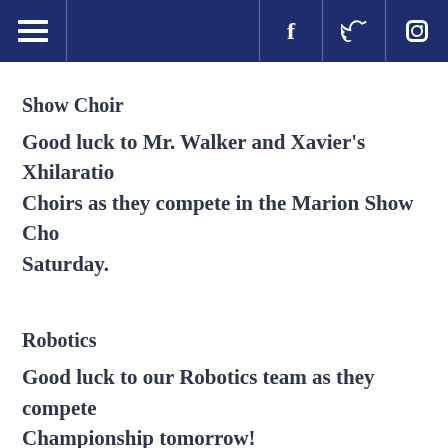Navigation bar with hamburger menu, Facebook, Twitter, Instagram icons
Show Choir
Good luck to Mr. Walker and Xavier's Xhilaration Choirs as they compete in the Marion Show Cho Saturday.
Robotics
Good luck to our Robotics team as they compete Championship tomorrow!